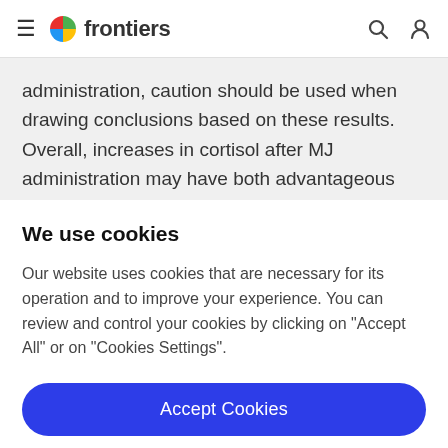frontiers
administration, caution should be used when drawing conclusions based on these results. Overall, increases in cortisol after MJ administration may have both advantageous and disadvantageous effects. For example, as HPA axis activity mobilizes the body to face
We use cookies
Our website uses cookies that are necessary for its operation and to improve your experience. You can review and control your cookies by clicking on "Accept All" or on "Cookies Settings".
Accept Cookies
Cookies Settings